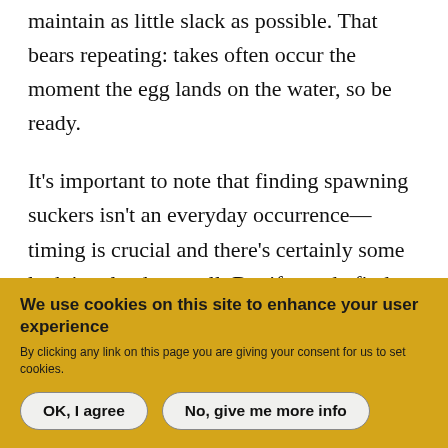maintain as little slack as possible. That bears repeating: takes often occur the moment the egg lands on the water, so be ready.
It's important to note that finding spawning suckers isn't an everyday occurrence—timing is crucial and there's certainly some luck involved, as well. But if you do find yourself within range of spawning suckers, they're worth seeking out, as you may encounter some of the year's best fishing
We use cookies on this site to enhance your user experience
By clicking any link on this page you are giving your consent for us to set cookies.